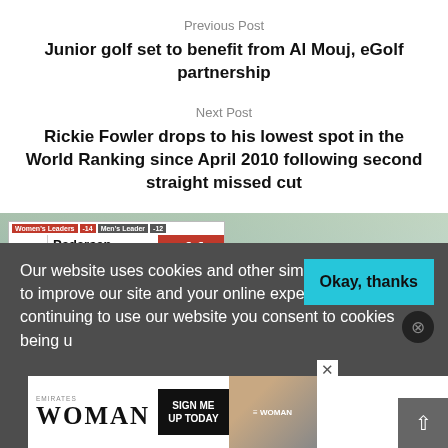Previous Post
Junior golf set to benefit from Al Mouj, eGolf partnership
Next Post
Rickie Fowler drops to his lowest spot in the World Ranking since April 2010 following second straight missed cut
[Figure (screenshot): Golf TV broadcast scoreboard showing Pedersen at hole 8, score -11, 5th place, with Women's Leader -14 and Men's Leader -12 indicators, Birdie Putt label, on a golf course background]
Our website uses cookies and other similar technologies to improve our site and your online experience. By continuing to use our website you consent to cookies being u...